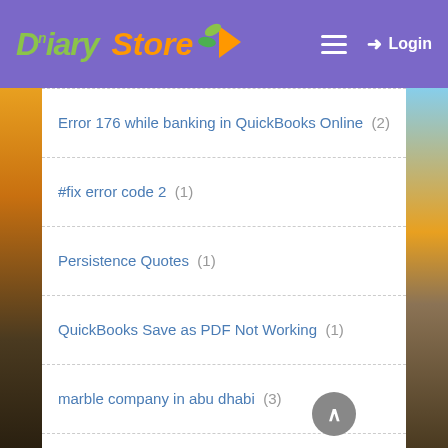Diary Store — Login
Error 176 while banking in QuickBooks Online (2)
#fix error code 2 (1)
Persistence Quotes (1)
QuickBooks Save as PDF Not Working (1)
marble company in abu dhabi (3)
#reset bellsouth email (1)
QuickBooks Error message 1311 (1)
Air freight Services (1)
Company file error 6150 (1)
Vibration Sensor Dallas TX (8)
Marcus Tullius Cicero (1)
Quickbooks payrolls (1)